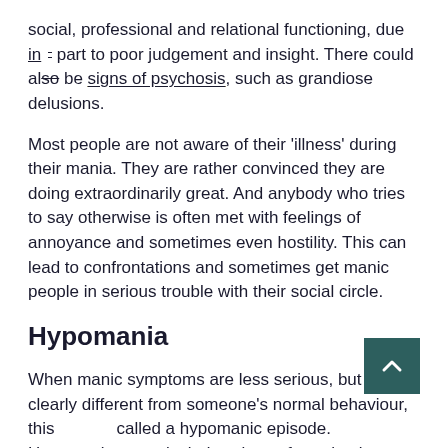social, professional and relational functioning, due in part to poor judgement and insight. There could also be signs of psychosis, such as grandiose delusions.
Most people are not aware of their 'illness' during their mania. They are rather convinced they are doing extraordinarily great. And anybody who tries to say otherwise is often met with feelings of annoyance and sometimes even hostility. This can lead to confrontations and sometimes get manic people in serious trouble with their social circle.
Hypomania
When manic symptoms are less serious, but still clearly different from someone's normal behaviour, this called a hypomanic episode. Hypomania never includes signs of psychosis, nor the (social)